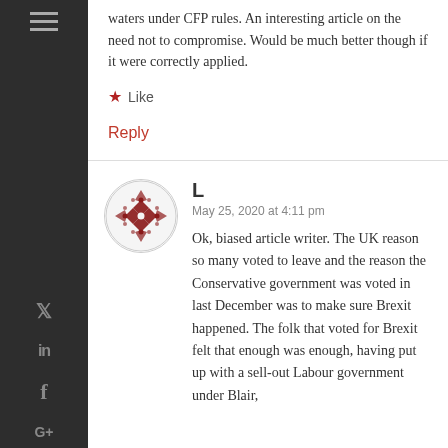waters under CFP rules. An interesting article on the need not to compromise. Would be much better though if it were correctly applied.
Like
Reply
L
May 25, 2020 at 4:11 pm
Ok, biased article writer. The UK reason so many voted to leave and the reason the Conservative government was voted in last December was to make sure Brexit happened. The folk that voted for Brexit felt that enough was enough, having put up with a sell-out Labour government under Blair,